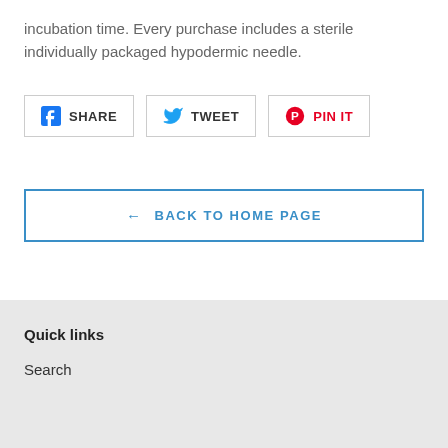incubation time. Every purchase includes a sterile individually packaged hypodermic needle.
[Figure (other): Social share buttons: SHARE (Facebook), TWEET (Twitter), PIN IT (Pinterest)]
← BACK TO HOME PAGE
Quick links
Search